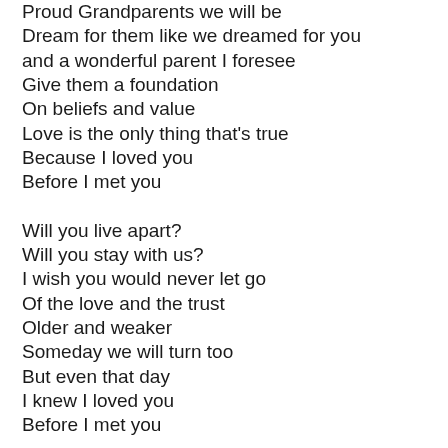Proud Grandparents we will be
Dream for them like we dreamed for you
and a wonderful parent I foresee
Give them a foundation
On beliefs and value
Love is the only thing that's true
Because I loved you
Before I met you

Will you live apart?
Will you stay with us?
I wish you would never let go
Of the love and the trust
Older and weaker
Someday we will turn too
But even that day
I knew I loved you
Before I met you

Memories and Regrets
Through all life's test
You might not think